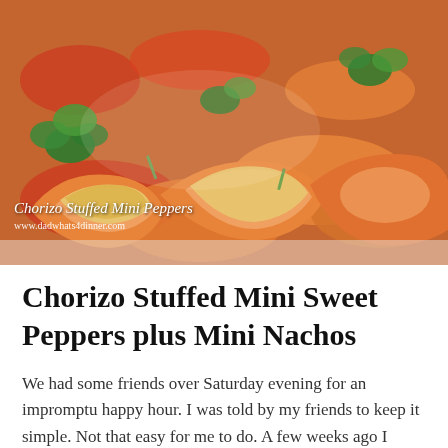[Figure (photo): Close-up photo of chorizo stuffed mini sweet peppers with melted cheese and fresh herbs (cilantro/green onion) on top, orange and red peppers visible. Overlay text reads 'Chorizo Stuffed Mini Peppers' and 'www.dadwhats4dinner.com'.]
Chorizo Stuffed Mini Sweet Peppers plus Mini Nachos
We had some friends over Saturday evening for an impromptu happy hour. I was told by my friends to keep it simple. Not that easy for me to do. A few weeks ago I found this tube of Cacique chorizo at